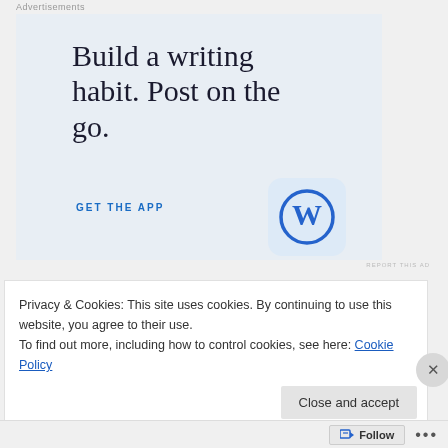Advertisements
[Figure (illustration): WordPress advertisement: 'Build a writing habit. Post on the go.' with GET THE APP call to action and WordPress logo icon on light blue background]
REPORT THIS AD
Privacy & Cookies: This site uses cookies. By continuing to use this website, you agree to their use.
To find out more, including how to control cookies, see here: Cookie Policy
Close and accept
Follow ...